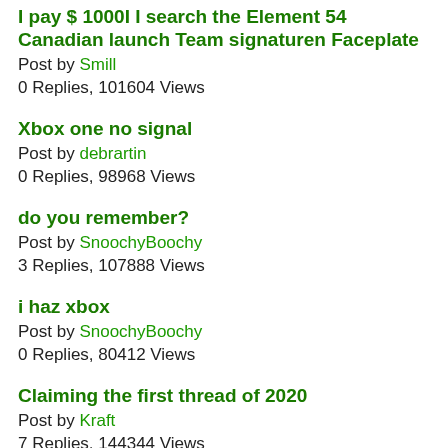I pay $ 1000I I search the Element 54 Canadian launch Team signaturen Faceplate
Post by Smill
0 Replies, 101604 Views
Xbox one no signal
Post by debrartin
0 Replies, 98968 Views
do you remember?
Post by SnoochyBoochy
3 Replies, 107888 Views
i haz xbox
Post by SnoochyBoochy
0 Replies, 80412 Views
Claiming the first thread of 2020
Post by Kraft
7 Replies, 144344 Views
Important! I pay $ 1000I I search the Sweden launch and the Element 54 Faceplate